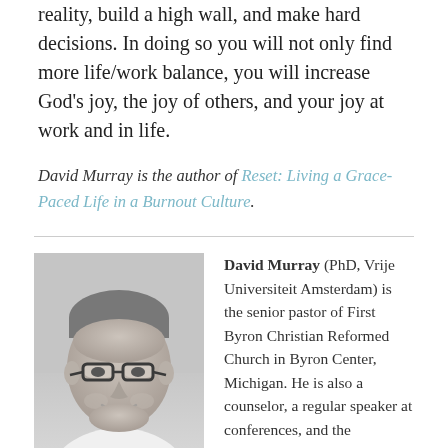reality, build a high wall, and make hard decisions. In doing so you will not only find more life/work balance, you will increase God's joy, the joy of others, and your joy at work and in life.
David Murray is the author of Reset: Living a Grace-Paced Life in a Burnout Culture.
[Figure (photo): Black and white headshot photo of David Murray, a middle-aged man wearing glasses and smiling, dressed in a white shirt]
David Murray (PhD, Vrije Universiteit Amsterdam) is the senior pastor of First Byron Christian Reformed Church in Byron Center, Michigan. He is also a counselor, a regular speaker at conferences, and the